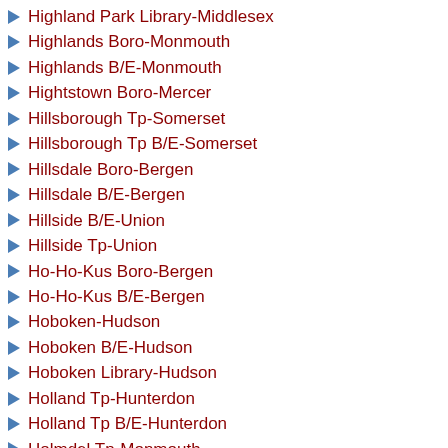Highland Park Library-Middlesex
Highlands Boro-Monmouth
Highlands B/E-Monmouth
Hightstown Boro-Mercer
Hillsborough Tp-Somerset
Hillsborough Tp B/E-Somerset
Hillsdale Boro-Bergen
Hillsdale B/E-Bergen
Hillside B/E-Union
Hillside Tp-Union
Ho-Ho-Kus Boro-Bergen
Ho-Ho-Kus B/E-Bergen
Hoboken-Hudson
Hoboken B/E-Hudson
Hoboken Library-Hudson
Holland Tp-Hunterdon
Holland Tp B/E-Hunterdon
Holmdel Tp-Monmouth
Holmdel Tp B/E-Monmouth
Hopatcong Boro-Sussex
Hopatcong B/E-Sussex